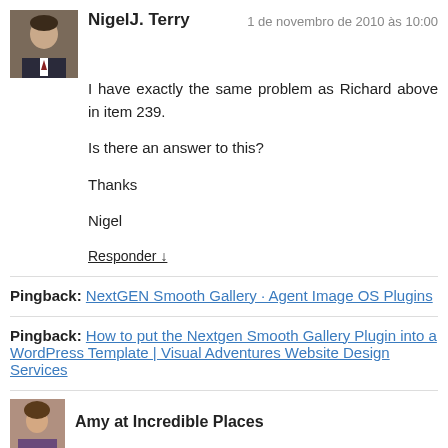[Figure (photo): Avatar photo of Nigel J. Terry, a man in a suit]
NigelJ. Terry
1 de novembro de 2010 às 10:00
I have exactly the same problem as Richard above in item 239.

Is there an answer to this?

Thanks

Nigel
Responder ↓
Pingback: NextGEN Smooth Gallery · Agent Image OS Plugins
Pingback: How to put the Nextgen Smooth Gallery Plugin into a WordPress Template | Visual Adventures Website Design Services
[Figure (photo): Avatar photo of Amy at Incredible Places]
Amy at Incredible Places